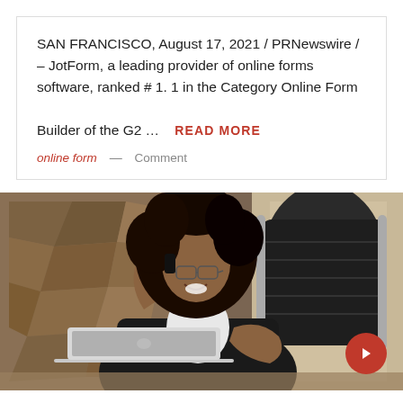SAN FRANCISCO, August 17, 2021 / PRNewswire / – JotForm, a leading provider of online forms software, ranked # 1. 1 in the Category Online Form Builder of the G2 …
READ MORE
online form  —  Comment
[Figure (photo): A woman with natural curly hair wearing glasses and a black blazer over a white top, smiling and talking on a phone while sitting in a black leather office chair. A laptop is open on a desk in front of her. The background features wooden geometric wall panels.]